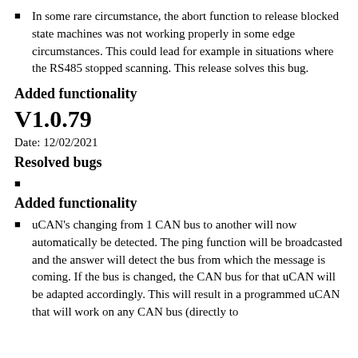In some rare circumstance, the abort function to release blocked state machines was not working properly in some edge circumstances. This could lead for example in situations where the RS485 stopped scanning. This release solves this bug.
Added functionality
V1.0.79
Date: 12/02/2021
Resolved bugs
Added functionality
uCAN's changing from 1 CAN bus to another will now automatically be detected. The ping function will be broadcasted and the answer will detect the bus from which the message is coming. If the bus is changed, the CAN bus for that uCAN will be adapted accordingly. This will result in a programmed uCAN that will work on any CAN bus (directly to